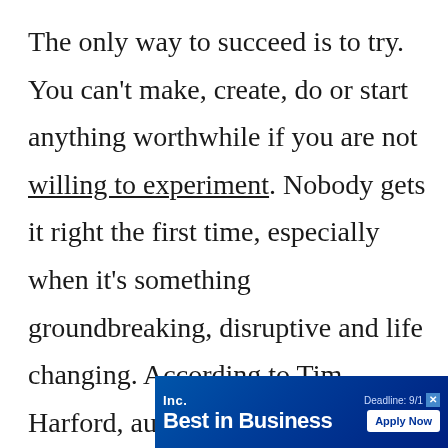The only way to succeed is to try. You can't make, create, do or start anything worthwhile if you are not willing to experiment. Nobody gets it right the first time, especially when it's something groundbreaking, disruptive and life changing. According to Tim Harford, author of Adapt: Why Success Always Starts With Failure, "success comes through rapidly fixing our mistakes rather than getting thin...
[Figure (screenshot): Inc. Best in Business advertisement banner with blue gradient background, showing 'Inc.' logo, 'Best in Business' text in large white bold font, 'Deadline: 9/1' and 'Apply Now' button]